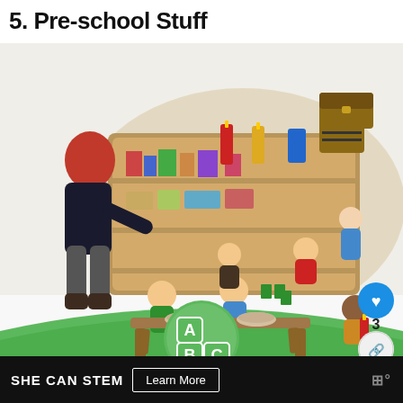5. Pre-school Stuff
[Figure (illustration): 3D rendered illustration from The Sims 4 showing a pre-school classroom scene with a teacher (adult female with red hair) leaning over toddlers sitting at a small wooden table. Several children are playing with toys on the floor near curved wooden shelving units filled with books and toys. An ABC block icon badge overlays the bottom center of the image. A circular heart/like button (blue, showing count 3) and a share button appear on the right side. A 'What's Next' thumbnail panel shows 'Top 15 Best Sims 4...' A green curved arc fills the lower portion of the image area.]
SHE CAN STEM   Learn More